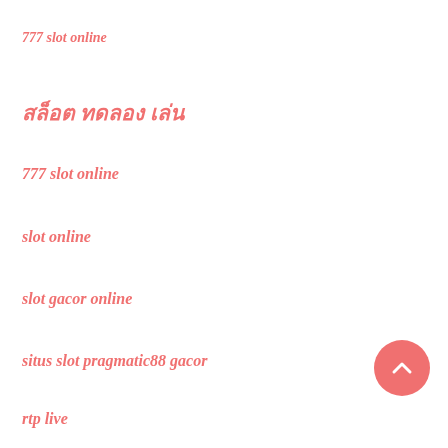777 slot online
สล็อต ทดลอง เล่น
777 slot online
slot online
slot gacor online
situs slot pragmatic88 gacor
rtp live